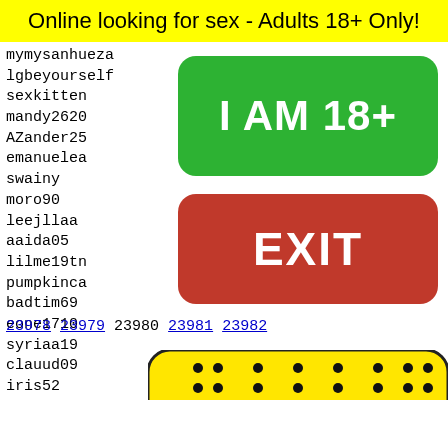Online looking for sex - Adults 18+ Only!
mymysanhueza
lgbeyourself
sexkitten
mandy2620
AZander25
emanuelea
swainy
moro90
leejllaa
aaida05
lilme19tn
pumpkinca
badtim69
eone1710
syriaa19
clauud09
iris52
odgovarajtepl
Prettybrown7
curiou
seif60
nikkib
tia9
atlant
france
[Figure (other): Green button labeled I AM 18+]
[Figure (other): Red button labeled EXIT]
23978 23979 23980 23981 23982
[Figure (photo): Snapchat ghost icon on yellow background with a person]